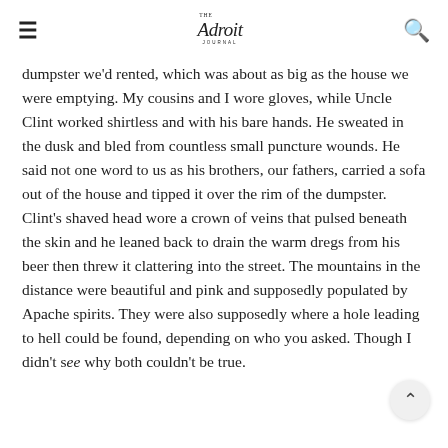The Adroit Journal
dumpster we'd rented, which was about as big as the house we were emptying. My cousins and I wore gloves, while Uncle Clint worked shirtless and with his bare hands. He sweated in the dusk and bled from countless small puncture wounds. He said not one word to us as his brothers, our fathers, carried a sofa out of the house and tipped it over the rim of the dumpster. Clint's shaved head wore a crown of veins that pulsed beneath the skin and he leaned back to drain the warm dregs from his beer then threw it clattering into the street. The mountains in the distance were beautiful and pink and supposedly populated by Apache spirits. They were also supposedly where a hole leading to hell could be found, depending on who you asked. Though I didn't see why both couldn't be true.